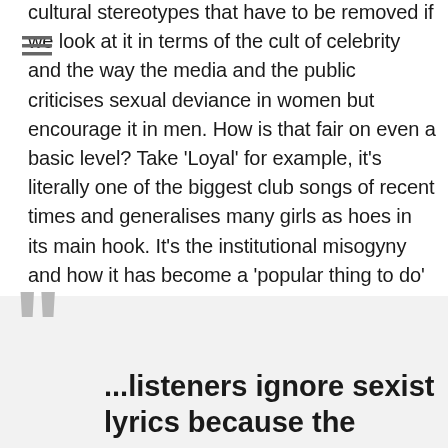cultural stereotypes that have to be removed if we look at it in terms of the cult of celebrity and the way the media and the public criticises sexual deviance in women but encourage it in men. How is that fair on even a basic level? Take 'Loyal' for example, it's literally one of the biggest club songs of recent times and generalises many girls as hoes in its main hook. It's the institutional misogyny and how it has become a 'popular thing to do' in rap music which is the massive issue in my opinion.
James Richards
...listeners ignore sexist lyrics because the